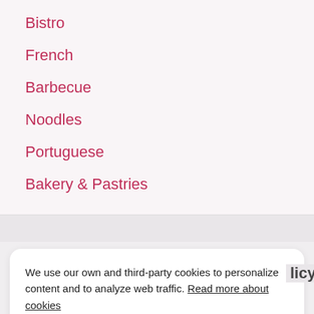Bistro
French
Barbecue
Noodles
Portuguese
Bakery & Pastries
We use our own and third-party cookies to personalize content and to analyze web traffic. Read more about cookies
Accept cookies
Reject